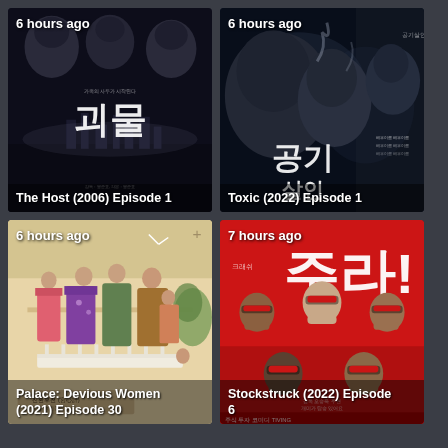[Figure (screenshot): Movie poster for The Host (2006) - dark thriller with Korean characters, showing '6 hours ago' timestamp]
The Host (2006) Episode 1
[Figure (screenshot): Movie poster for Toxic (2022) - dark thriller with Korean characters, showing '6 hours ago' timestamp]
Toxic (2022) Episode 1
[Figure (screenshot): TV show poster for Palace: Devious Women (2021) - Chinese historical drama with period costumes, showing '6 hours ago' timestamp]
Palace: Devious Women (2021) Episode 30
[Figure (screenshot): Movie poster for Stockstruck (2022) - Korean comedy with red background and people wearing red glasses, showing '7 hours ago' timestamp]
Stockstruck (2022) Episode 6